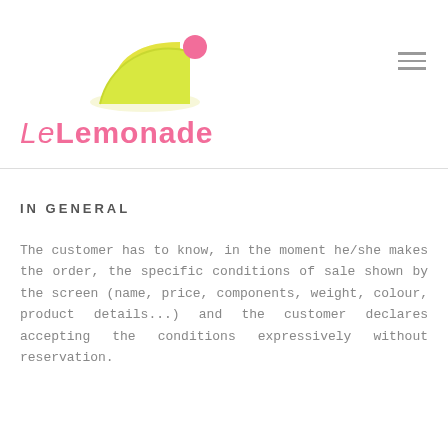[Figure (logo): LeLemonade logo: yellow lemon slice shape with a pink circle accent, above the brand name 'LeLemonade' in pink]
IN GENERAL
The customer has to know, in the moment he/she makes the order, the specific conditions of sale shown by the screen (name, price, components, weight, colour, product details...) and the customer declares accepting the conditions expressively without reservation.